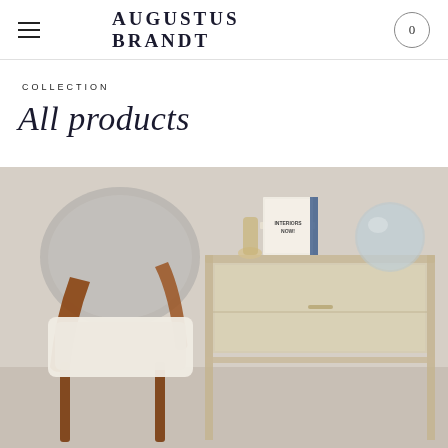AUGUSTUS BRANDT
COLLECTION
All products
[Figure (photo): Interior product photo showing a mid-century modern armchair with wood frame and white upholstery beside a mirrored/glass side table with a book titled 'INTERIORS NOW!' and a decorative glass sphere on top.]